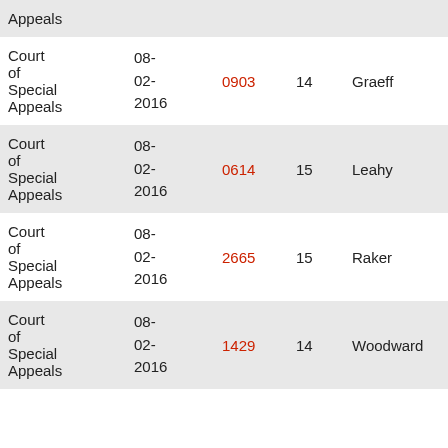| Court | Date | Number | Pg | Judge | Case |
| --- | --- | --- | --- | --- | --- |
| Court of Special Appeals | 08-02-2016 | 0903 | 14 | Graeff | He... |
| Court of Special Appeals | 08-02-2016 | 0614 | 15 | Leahy | Ha... |
| Court of Special Appeals | 08-02-2016 | 2665 | 15 | Raker | In r... Ad... of S... |
| Court of Special Appeals | 08-02-2016 | 1429 | 14 | Woodward | Ric... |